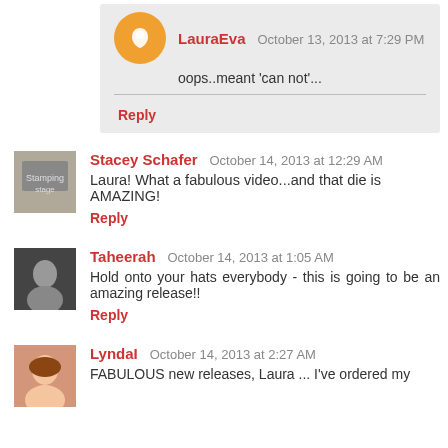LauraEva  October 13, 2013 at 7:29 PM
oops..meant 'can not'...
Reply
Stacey Schafer  October 14, 2013 at 12:29 AM
Laura! What a fabulous video...and that die is AMAZING!
Reply
Taheerah  October 14, 2013 at 1:05 AM
Hold onto your hats everybody - this is going to be an amazing release!!
Reply
LyndaI  October 14, 2013 at 2:27 AM
FABULOUS new releases, Laura ... I've ordered my